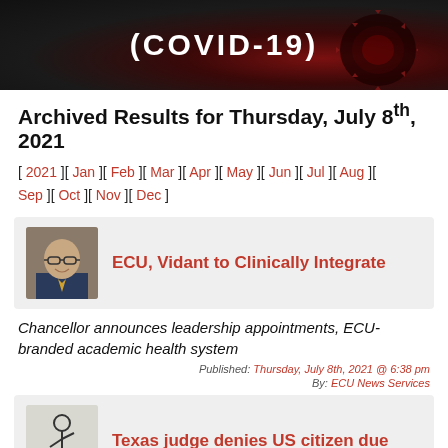[Figure (photo): Dark banner with COVID-19 text and coronavirus particle imagery in red and dark tones]
Archived Results for Thursday, July 8th, 2021
[ 2021 ][ Jan ][ Feb ][ Mar ][ Apr ][ May ][ Jun ][ Jul ][ Aug ][ Sep ][ Oct ][ Nov ][ Dec ]
[Figure (photo): Headshot of a bald man with glasses wearing a suit]
ECU, Vidant to Clinically Integrate
Chancellor announces leadership appointments, ECU-branded academic health system
Published: Thursday, July 8th, 2021 @ 6:38 pm
By: ECU News Services
[Figure (illustration): Small illustration of a figure, likely a news story icon]
Texas judge denies US citizen due